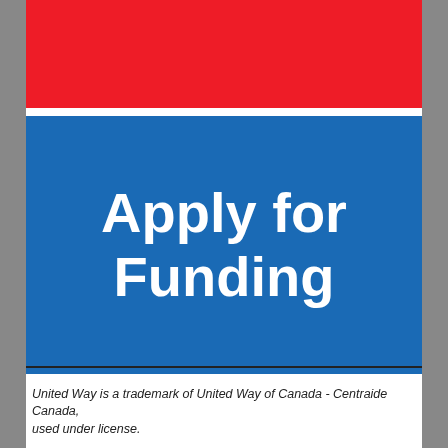[Figure (other): Red banner bar at the top of the page]
Apply for Funding
United Way is a trademark of United Way of Canada - Centraide Canada, used under license.